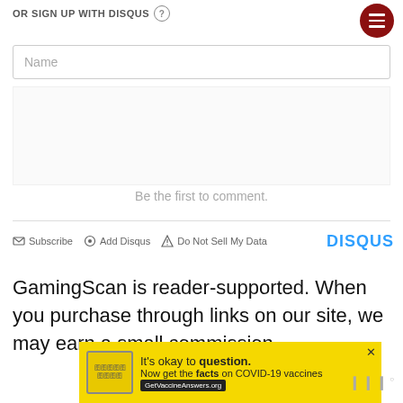OR SIGN UP WITH DISQUS ?
Name
Be the first to comment.
Subscribe  Add Disqus  Do Not Sell My Data  DISQUS
GamingScan is reader-supported. When you purchase through links on our site, we may earn a small commission.
[Figure (screenshot): Yellow advertisement bar for 'It's okay to question. Now get the facts on COVID-19 vaccines. GetVaccineAnswers.org']